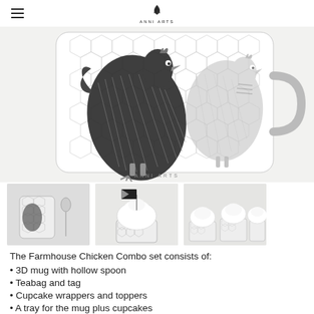ANNI ARTS
[Figure (photo): A ceramic mug with a black and white farmhouse chicken / hen wire fence pattern design, showing a rooster and hen illustration over hexagonal wire mesh background. The mug has a handle on the right side. 'ANNI ARTS' watermark at the bottom.]
[Figure (photo): Thumbnail image: small ceramic mug with chicken pattern and a spoon, black and white design]
[Figure (photo): Thumbnail image: a cupcake with white icing and a mini flag topper featuring a flag design, with chicken-pattern wrapper]
[Figure (photo): Thumbnail image: multiple small cupcakes in chicken-pattern wrappers with white icing]
The Farmhouse Chicken Combo set consists of:
3D mug with hollow spoon
Teabag and tag
Cupcake wrappers and toppers
A tray for the mug plus cupcakes